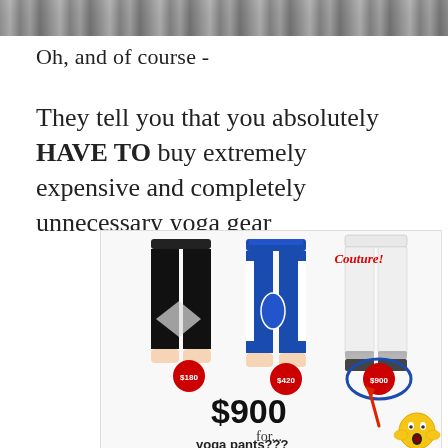[Figure (photo): Partial photo at top of page showing dark/grayscale image, cropped]
Oh, and of course -
They tell you that you absolutely HAVE TO buy extremely expensive and completely unnecessary yoga gear
[Figure (infographic): Image showing three pairs of yoga pants/leggings: black ones priced at $180, blue ones at $420, white Couture ones at $900. Large text reads '$900 for... yoga pants???' with a shocked emoji and a red arrow pointing to the $900 price tag on the white pants, which is circled in blue.]